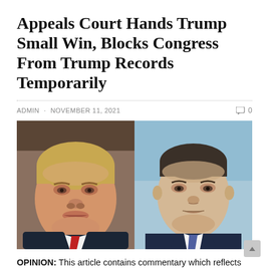Appeals Court Hands Trump Small Win, Blocks Congress From Trump Records Temporarily
ADMIN · NOVEMBER 11, 2021   0
[Figure (photo): Split composite photo showing two men side by side: on the left, Donald Trump in a dark suit with red tie; on the right, a man in a dark navy suit with blue/purple tie, appearing to be in a TV studio setting.]
OPINION: This article contains commentary which reflects